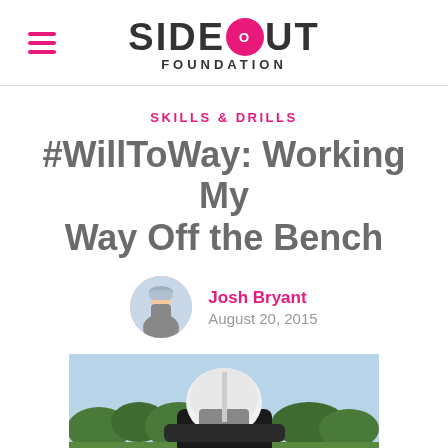SIDEOUT FOUNDATION
SKILLS & DRILLS
#WillToWay: Working My Way Off the Bench
Josh Bryant
August 20, 2015
[Figure (photo): Football player wearing white helmet and black jersey with number 31, viewed from behind on a grass field with trees and sky in background.]